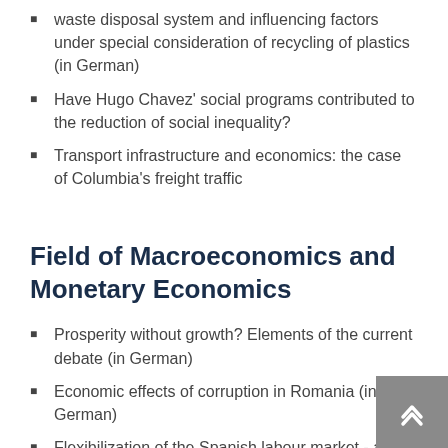waste disposal system and influencing factors under special consideration of recycling of plastics (in German)
Have Hugo Chavez' social programs contributed to the reduction of social inequality?
Transport infrastructure and economics: the case of Columbia's freight traffic
Field of Macroeconomics and Monetary Economics
Prosperity without growth? Elements of the current debate (in German)
Economic effects of corruption in Romania (in German)
Flexibilization of the Spanish labour market - a